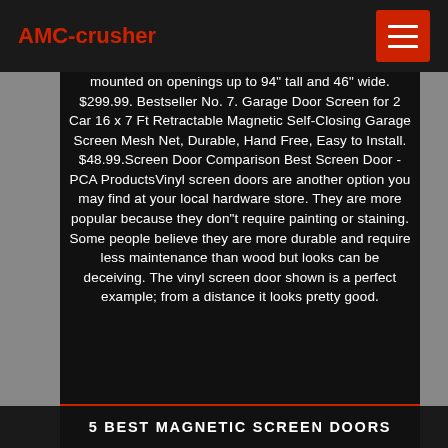AMC-crusher
mounted on openings up to 94" tall and 46" wide. $299.99. Bestseller No. 7. Garage Door Screen for 2 Car 16 x 7 Ft Retractable Magnetic Self-Closing Garage Screen Mesh Net, Durable, Hand Free, Easy to Install. $48.99.Screen Door Comparison Best Screen Door - PCA ProductsVinyl screen doors are another option you may find at your local hardware store. They are more popular because they don"t require painting or staining. Some people believe they are more durable and require less maintenance than wood but looks can be deceiving. The vinyl screen door shown is a perfect example; from a distance it looks pretty good.
5 BEST MAGNETIC SCREEN DOORS